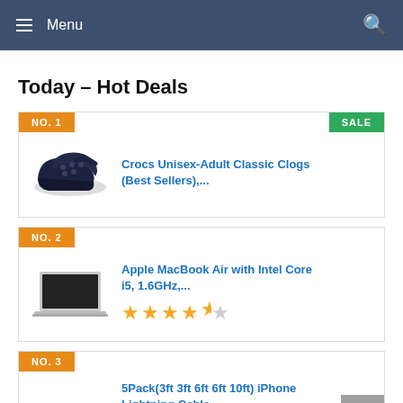Menu
Today – Hot Deals
NO. 1 | SALE | Crocs Unisex-Adult Classic Clogs (Best Sellers),...
NO. 2 | Apple MacBook Air with Intel Core i5, 1.6GHz,... | 4.5 stars
NO. 3 | 5Pack(3ft 3ft 6ft 6ft 10ft) iPhone Lightning Cable...